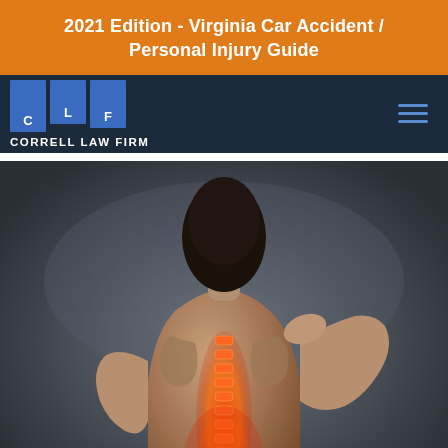2021 Edition - Virginia Car Accident / Personal Injury Guide
[Figure (logo): Correll Law Firm logo with three blue rectangular blocks labeled C, L, F and text CORRELL LAW FIRM below, on dark navy background with hamburger menu icon on right]
[Figure (photo): Person viewed from behind, shirtless, reaching back to touch neck/upper back area with spine highlighted in red/orange, suggesting back or spine pain, against dark gray background]